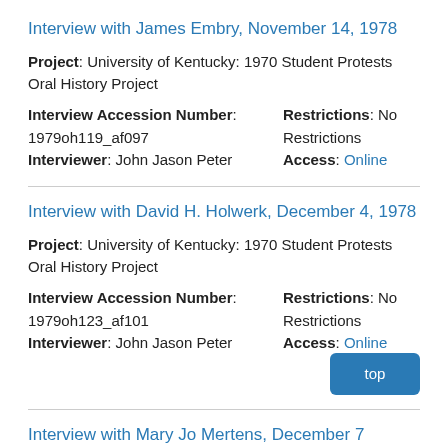Interview with James Embry, November 14, 1978
Project: University of Kentucky: 1970 Student Protests Oral History Project
Interview Accession Number: 1979oh119_af097
Interviewer: John Jason Peter
Restrictions: No Restrictions
Access: Online
Interview with David H. Holwerk, December 4, 1978
Project: University of Kentucky: 1970 Student Protests Oral History Project
Interview Accession Number: 1979oh123_af101
Interviewer: John Jason Peter
Restrictions: No Restrictions
Access: Online
Interview with Mary Jo Mertens, December 7